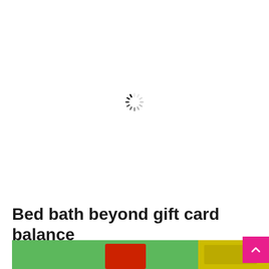[Figure (other): Loading spinner icon (animated spinner/throbber graphic) centered in the upper portion of the page]
Bed bath beyond gift card balance
[Figure (photo): Partial thumbnail image at the bottom of the page showing a green background with a red card and yellow elements, partially cropped]